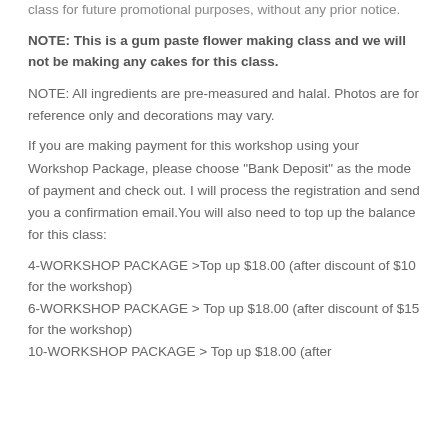class for future promotional purposes, without any prior notice.
NOTE: This is a gum paste flower making class and we will not be making any cakes for this class.
NOTE: All ingredients are pre-measured and halal. Photos are for reference only and decorations may vary.
If you are making payment for this workshop using your Workshop Package, please choose "Bank Deposit" as the mode of payment and check out. I will process the registration and send you a confirmation email.You will also need to top up the balance for this class:
4-WORKSHOP PACKAGE >Top up $18.00 (after discount of $10 for the workshop)
6-WORKSHOP PACKAGE > Top up $18.00 (after discount of $15 for the workshop)
10-WORKSHOP PACKAGE > Top up $18.00 (after